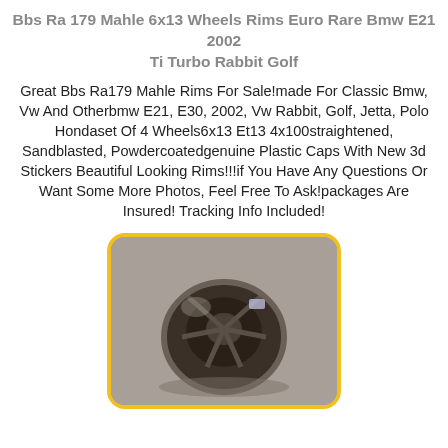Bbs Ra 179 Mahle 6x13 Wheels Rims Euro Rare Bmw E21 2002 Ti Turbo Rabbit Golf
Great Bbs Ra179 Mahle Rims For Sale!made For Classic Bmw, Vw And Otherbmw E21, E30, 2002, Vw Rabbit, Golf, Jetta, Polo Hondaset Of 4 Wheels6x13 Et13 4x100straightened, Sandblasted, Powdercoatedgenuine Plastic Caps With New 3d Stickers Beautiful Looking Rims!!!if You Have Any Questions Or Want Some More Photos, Feel Free To Ask!packages Are Insured! Tracking Info Included!
[Figure (photo): Photo of a BBS wheel rim, shot from above on a gray surface. The image shows a dark-colored alloy wheel rim with visible spokes.]